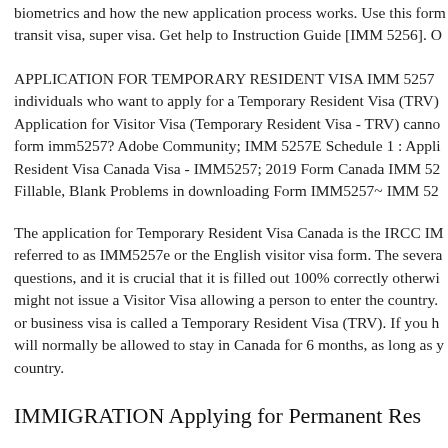biometrics and how the new application process works. Use this form transit visa, super visa. Get help to Instruction Guide [IMM 5256]. O
APPLICATION FOR TEMPORARY RESIDENT VISA IMM 5257 individuals who want to apply for a Temporary Resident Visa (TRV) Application for Visitor Visa (Temporary Resident Visa - TRV) canno form imm5257? Adobe Community; IMM 5257E Schedule 1 : Appli Resident Visa Canada Visa - IMM5257; 2019 Form Canada IMM 52 Fillable, Blank Problems in downloading Form IMM5257~ IMM 52
The application for Temporary Resident Visa Canada is the IRCC IM referred to as IMM5257e or the English visitor visa form. The severa questions, and it is crucial that it is filled out 100% correctly otherwi might not issue a Visitor Visa allowing a person to enter the country. or business visa is called a Temporary Resident Visa (TRV). If you h will normally be allowed to stay in Canada for 6 months, as long as y country.
IMMIGRATION Applying for Permanent Res